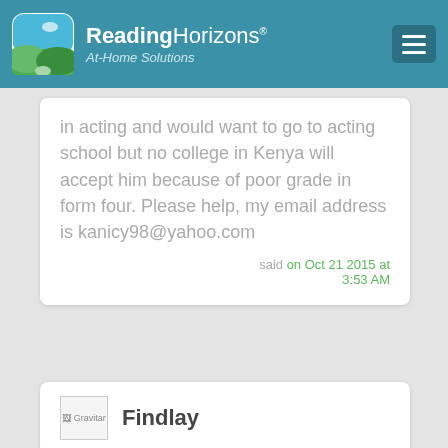ReadingHorizons At-Home Solutions
in acting and would want to go to acting school but no college in Kenya will accept him because of poor grade in form four. Please help, my email address is kanicy98@yahoo.com
said on Oct 21 2015 at 3:53 AM
Findlay